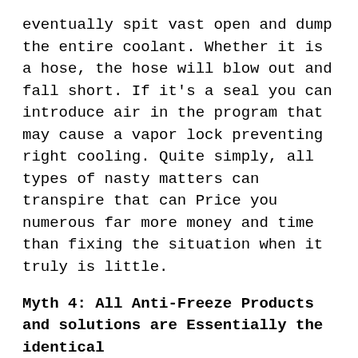eventually spit vast open and dump the entire coolant. Whether it is a hose, the hose will blow out and fall short. If it's a seal you can introduce air in the program that may cause a vapor lock preventing right cooling. Quite simply, all types of nasty matters can transpire that can Price you numerous far more money and time than fixing the situation when it truly is little.
Myth 4: All Anti-Freeze Products and solutions are Essentially the identical
I wish this fantasy was correct, but it's not. In actual fact, some auto producers, like Porsche, will void the vehicle guarantee if you don't use the required fluid. Be sure you Verify your auto proprietor's guide prior to deciding to use any type of product in the